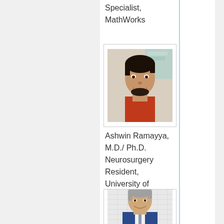Specialist, MathWorks
[Figure (photo): Headshot of Ashwin Ramayya, a young man with dark hair wearing a red sweater, smiling, indoors background]
Ashwin Ramayya, M.D./ Ph.D. Neurosurgery Resident, University of Pennsylvania
[Figure (photo): Headshot of a middle-aged man with gray hair wearing a blue suit, smiling, tiled background]